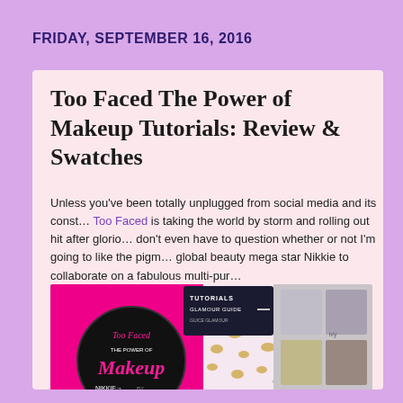FRIDAY, SEPTEMBER 16, 2016
Too Faced The Power of Makeup Tutorials: Review & Swatches
Unless you've been totally unplugged from social media and its const... Too Faced is taking the world by storm and rolling out hit after glorio... don't even have to question whether or not I'm going to like the pigm... global beauty mega star Nikkie to collaborate on a fabulous multi-pur...
[Figure (photo): Too Faced The Power of Makeup palette product photo showing a round compact with Too Faced branding in pink text on dark background, a tutorials booklet, pink leopard print packaging, and an eyeshadow palette with multiple shades.]